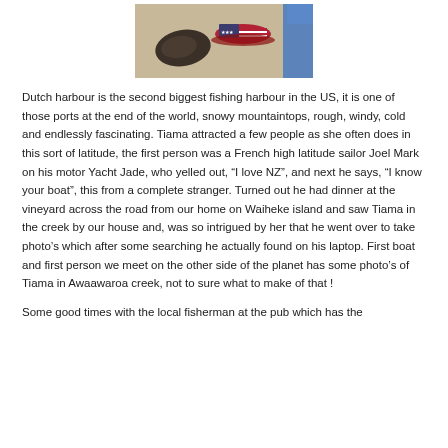[Figure (photo): Photo showing items on a surface — a dark rounded object (possibly a rock or fish) on the left and a USA flag-patterned hat/cap on the right, with a person in a blue top partially visible at far right edge. Background appears to be a table or deck surface.]
Dutch harbour is the second biggest fishing harbour in the US, it is one of those ports at the end of the world, snowy mountaintops, rough, windy, cold and endlessly fascinating. Tiama attracted a few people as she often does in this sort of latitude, the first person was a French high latitude sailor Joel Mark on his motor Yacht Jade, who yelled out, “I love NZ”, and next he says, “I know your boat”, this from a complete stranger. Turned out he had dinner at the vineyard across the road from our home on Waiheke island and saw Tiama in the creek by our house and, was so intrigued by her that he went over to take photo’s which after some searching he actually found on his laptop. First boat and first person we meet on the other side of the planet has some photo’s of Tiama in Awaawaroa creek, not to sure what to make of that !
Some good times with the local fisherman at the pub which has the